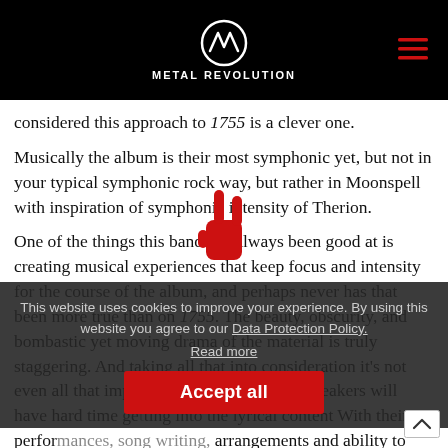METAL REVOLUTION
considered this approach to 1755 is a clever one.
Musically the album is their most symphonic yet, but not in your typical symphonic rock way, but rather in Moonspell with inspiration of symphonic intensity of Therion.
One of the things this band has always been good at is creating musical experiences that keep focus and intensity for the course of the album, and perhaps never has that been more true than on 1755. The beauty, obscurity, and bombastic yet moving drama of the material is truly staggering. And taking all that into consideration it's not even all that important that all us for non-speakers will have hard time getting into the lyrical content With their performances, song writing, arrangements and ability to capture the magic on
This website uses cookies to improve your experience. By using this website you agree to our Data Protection Policy.
Read more
Accept all